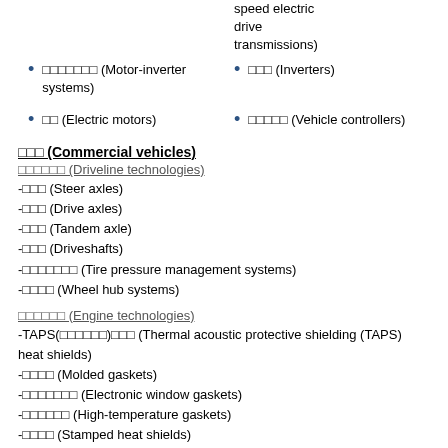□□□□□□□ (Motor-inverter systems)
□□□ (Inverters)
□□ (Electric motors)
□□□□□ (Vehicle controllers)
□□□ (Commercial vehicles)
□□□□□□ (Driveline technologies)
-□□□ (Steer axles)
-□□□ (Drive axles)
-□□□ (Tandem axle)
-□□□ (Driveshafts)
-□□□□□□□ (Tire pressure management systems)
-□□□□ (Wheel hub systems)
□□□□□□ (Engine technologies)
-TAPS(□□□□□□)□□□ (Thermal acoustic protective shielding (TAPS) heat shields)
-□□□□ (Molded gaskets)
-□□□□□□□ (Electronic window gaskets)
-□□□□□□ (High-temperature gaskets)
-□□□□ (Stamped heat shields)